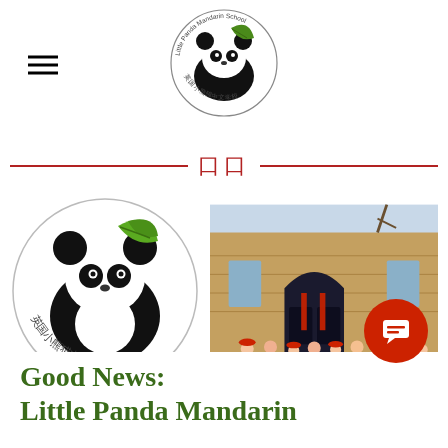[Figure (logo): Little Panda Mandarin School circular logo with panda and green leaf, with Chinese text 英国小熊猫中文学校]
[Figure (logo): Large version of Little Panda Mandarin School logo]
[Figure (photo): Group photo of children and adults in festive attire outside a stone building entrance with red Chinese New Year decorations]
Good News:
Little Panda Mandarin